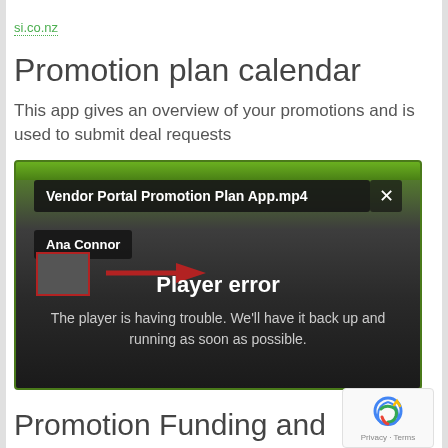si.co.nz
Promotion plan calendar
This app gives an overview of your promotions and is used to submit deal requests
[Figure (screenshot): Video player screenshot showing 'Vendor Portal Promotion Plan App.mp4' with a player error message: 'The player is having trouble. We'll have it back up and running as soon as possible.' User name 'Ana Connor' shown. Green and dark themed video player UI with a close button and red arrow graphic.]
Promotion Funding and